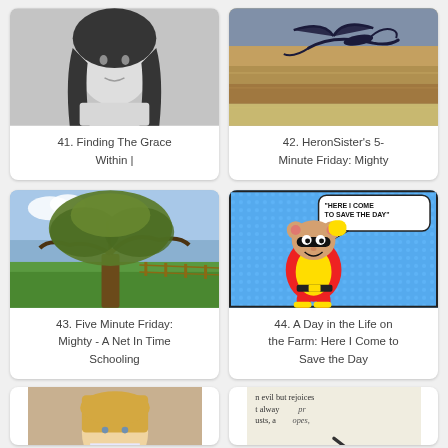[Figure (photo): Black and white photo of a woman with dark hair]
41. Finding The Grace Within |
[Figure (photo): Photo of a bird (heron) flying over water at sunset]
42. HeronSister's 5-Minute Friday: Mighty
[Figure (photo): Photo of a large oak tree in a green field with a fence]
43. Five Minute Friday: Mighty - A Net In Time Schooling
[Figure (illustration): Comic illustration of Mighty Mouse with speech bubble saying HERE I COME TO SAVE THE DAY]
44. A Day in the Life on the Farm: Here I Come to Save the Day
[Figure (photo): Partial photo of a blonde woman]
[Figure (photo): Partial photo of a newspaper or book text with magnifying glass]